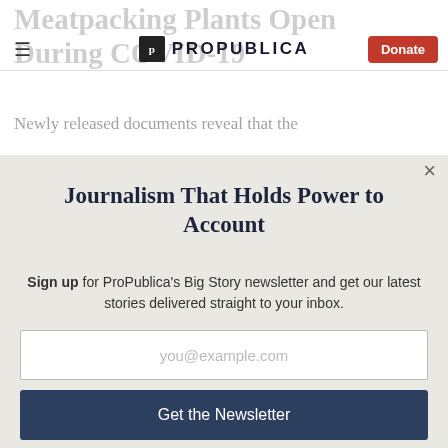ProPublica — Donate
Meatpacking Plants Open During COVID-19
Newly released documents reveal that the
Journalism That Holds Power to Account
Sign up for ProPublica's Big Story newsletter and get our latest stories delivered straight to your inbox.
you@example.com
Get the Newsletter
No thanks, I'm all set
This site is protected by reCAPTCHA and the Google Privacy Policy and Terms of Service apply.